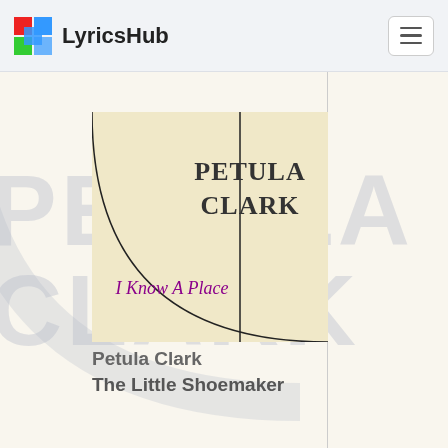LyricsHub
[Figure (illustration): Album cover for Petula Clark 'I Know A Place'. Cream/beige background with a large curve arc drawn in black going from top-left to bottom-right. A vertical black line divides the cover. Bold dark serif text reads 'PETULA CLARK' at top right section. Purple italic text reads 'I Know A Place' in lower portion.]
Petula Clark
The Little Shoemaker